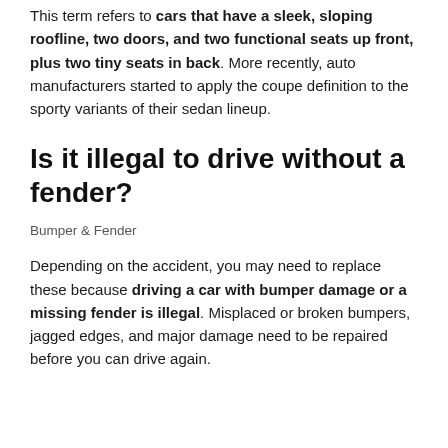This term refers to cars that have a sleek, sloping roofline, two doors, and two functional seats up front, plus two tiny seats in back. More recently, auto manufacturers started to apply the coupe definition to the sporty variants of their sedan lineup.
Is it illegal to drive without a fender?
Bumper & Fender
Depending on the accident, you may need to replace these because driving a car with bumper damage or a missing fender is illegal. Misplaced or broken bumpers, jagged edges, and major damage need to be repaired before you can drive again.